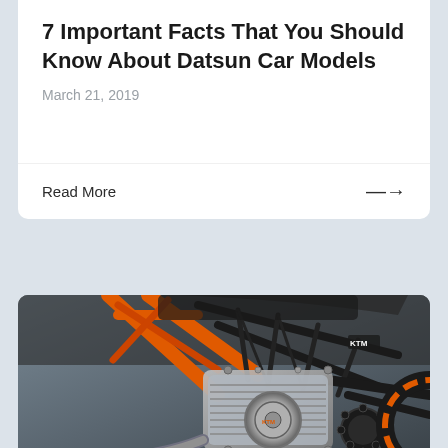7 Important Facts That You Should Know About Datsun Car Models
March 21, 2019
Read More →
[Figure (photo): Close-up photo of a KTM motorcycle engine and frame, showing orange tubular frame, black steel trellis frame, chrome engine components, and orange wheel rim]
All you need to know about KTM